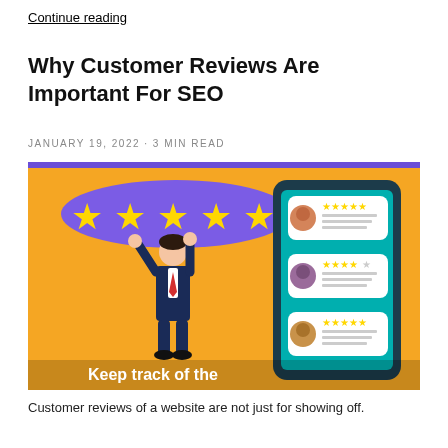Continue reading
Why Customer Reviews Are Important For SEO
JANUARY 19, 2022 · 3 min read
[Figure (illustration): Infographic showing a person in a suit holding up a star among five gold stars on a purple background, next to a smartphone showing three review bubbles each with a user avatar and star ratings. Text at bottom reads 'Keep track of the']
Customer reviews of a website are not just for showing off.